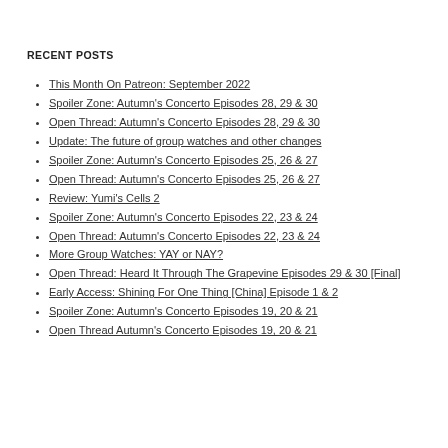RECENT POSTS
This Month On Patreon: September 2022
Spoiler Zone: Autumn's Concerto Episodes 28, 29 & 30
Open Thread: Autumn's Concerto Episodes 28, 29 & 30
Update: The future of group watches and other changes
Spoiler Zone: Autumn's Concerto Episodes 25, 26 & 27
Open Thread: Autumn's Concerto Episodes 25, 26 & 27
Review: Yumi's Cells 2
Spoiler Zone: Autumn's Concerto Episodes 22, 23 & 24
Open Thread: Autumn's Concerto Episodes 22, 23 & 24
More Group Watches: YAY or NAY?
Open Thread: Heard It Through The Grapevine Episodes 29 & 30 [Final]
Early Access: Shining For One Thing [China] Episode 1 & 2
Spoiler Zone: Autumn's Concerto Episodes 19, 20 & 21
Open Thread Autumn's Concerto Episodes 19, 20 & 21